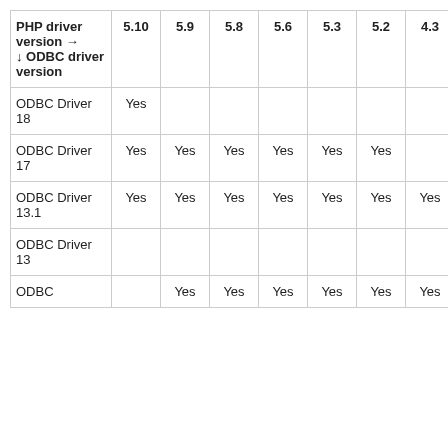| PHP driver version → ↓ ODBC driver version | 5.10 | 5.9 | 5.8 | 5.6 | 5.3 | 5.2 | 4.3 | 4.0 | 3.2 |
| --- | --- | --- | --- | --- | --- | --- | --- | --- | --- |
| ODBC Driver 18 | Yes |  |  |  |  |  |  |  |  |
| ODBC Driver 17 | Yes | Yes | Yes | Yes | Yes | Yes |  |  |  |
| ODBC Driver 13.1 | Yes | Yes | Yes | Yes | Yes | Yes | Yes | Yes |  |
| ODBC Driver 13 |  |  |  |  |  |  |  | Yes |  |
| ODBC |  | Yes | Yes | Yes | Yes | Yes | Yes | Yes |